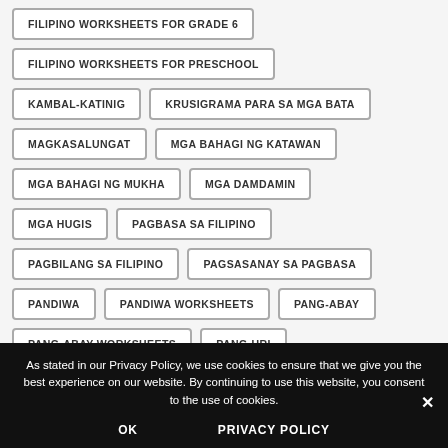FILIPINO WORKSHEETS FOR GRADE 6
FILIPINO WORKSHEETS FOR PRESCHOOL
KAMBAL-KATINIG
KRUSIGRAMA PARA SA MGA BATA
MAGKASALUNGAT
MGA BAHAGI NG KATAWAN
MGA BAHAGI NG MUKHA
MGA DAMDAMIN
MGA HUGIS
PAGBASA SA FILIPINO
PAGBILANG SA FILIPINO
PAGSASANAY SA PAGBASA
PANDIWA
PANDIWA WORKSHEETS
PANG-ABAY
PANG-ABAY WORKSHEETS
PANG-URI
As stated in our Privacy Policy, we use cookies to ensure that we give you the best experience on our website. By continuing to use this website, you consent to the use of cookies.
OK
PRIVACY POLICY